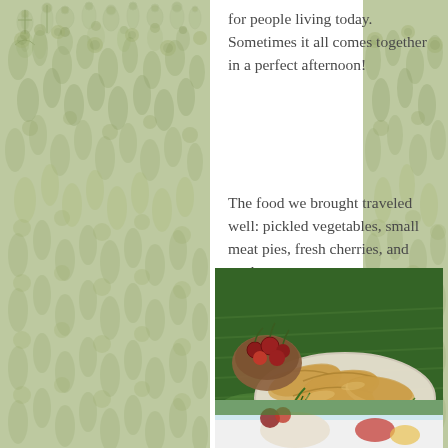for people living today. Sometimes it all comes together in a perfect afternoon!
The food we brought traveled well: pickled vegetables, small meat pies, fresh cherries, and cool water.
[Figure (photo): A plate of small meat pies on grass, with a bowl of cherries and pickled vegetables visible, photographed outdoors]
[Figure (photo): Partial view of another outdoor food photo at the bottom of the page]